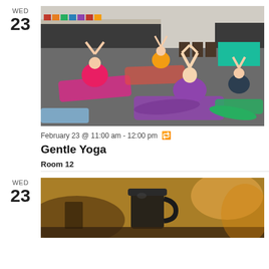WED
23
[Figure (photo): A yoga class with several participants sitting on colorful yoga mats in a classroom-like room with chalkboards, arms raised above heads in a yoga pose.]
February 23 @ 11:00 am - 12:00 pm (recurring)
Gentle Yoga
Room 12
WED
23
[Figure (photo): A blurred indoor cafe or lounge scene with a dark cup and warm lighting, shallow depth of field.]